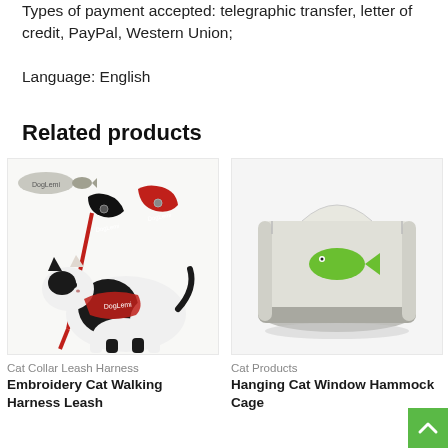Types of payment accepted: telegraphic transfer, letter of credit, PayPal, Western Union;
Language: English
Related products
[Figure (photo): Photo of a black and red embroidery cat walking harness with leash, shown with a black and white cat wearing the red harness. DogLemi brand logo visible.]
Cat Collar Leash Harness
Embroidery Cat Walking Harness Leash
[Figure (photo): Photo of a grey and white plush hanging cat window hammock cage, with a green fish shape on the front. Rectangular shape, fleece-lined.]
Cat Products
Hanging Cat Window Hammock Cage